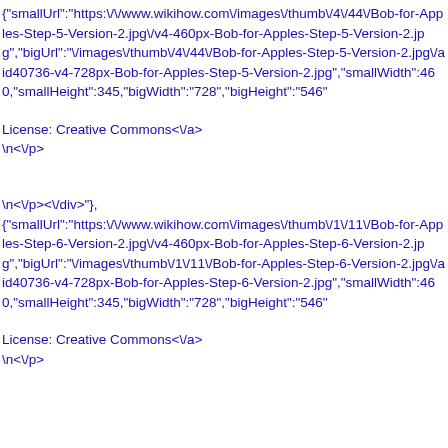{"smallUrl":"https:\/\/www.wikihow.com\/images\/thumb\/4\/44\/Bob-for-Apples-Step-5-Version-2.jpg\/v4-460px-Bob-for-Apples-Step-5-Version-2.jpg","bigUrl":"\/images\/thumb\/4\/44\/Bob-for-Apples-Step-5-Version-2.jpg\/aid40736-v4-728px-Bob-for-Apples-Step-5-Version-2.jpg","smallWidth":460,"smallHeight":345,"bigWidth":"728","bigHeight":"546"
License: Creative Commons<\/a>
\n<\/p>
\n<\/p><\/div>"},
{"smallUrl":"https:\/\/www.wikihow.com\/images\/thumb\/1\/11\/Bob-for-Apples-Step-6-Version-2.jpg\/v4-460px-Bob-for-Apples-Step-6-Version-2.jpg","bigUrl":"\/images\/thumb\/1\/11\/Bob-for-Apples-Step-6-Version-2.jpg\/aid40736-v4-728px-Bob-for-Apples-Step-6-Version-2.jpg","smallWidth":460,"smallHeight":345,"bigWidth":"728","bigHeight":"546"
License: Creative Commons<\/a>
\n<\/p>